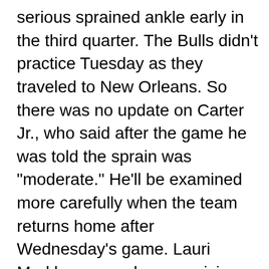serious sprained ankle early in the third quarter. The Bulls didn't practice Tuesday as they traveled to New Orleans. So there was no update on Carter Jr., who said after the game he was told the sprain was "moderate." He'll be examined more carefully when the team returns home after Wednesday's game. Lauri Markkanen made a surprising return to play against Dallas after an ankle sprain Saturday against Boston when it seemed he'd miss a game or two. Gafford also sprained an ankle at the end of the first half Monday. But he returned to play an impressive second half with nine points and five rebounds in 15